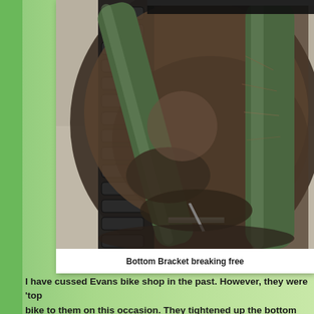[Figure (photo): Close-up photograph of a dirty bicycle bottom bracket area showing the chain, frame tubes, and bottom bracket breaking free or coming loose, covered in mud/dirt on a concrete surface background.]
Bottom Bracket breaking free
I have cussed Evans bike shop in the past. However, they were 'top bike to them on this occasion. They tightened up the bottom brack...